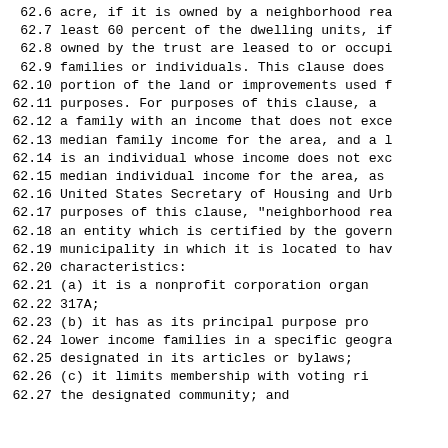62.6 acre, if it is owned by a neighborhood rea
62.7 least 60 percent of the dwelling units, if
62.8 owned by the trust are leased to or occupi
62.9 families or individuals. This clause does
62.10 portion of the land or improvements used f
62.11 purposes. For purposes of this clause, a
62.12 a family with an income that does not exce
62.13 median family income for the area, and a l
62.14 is an individual whose income does not exc
62.15 median individual income for the area, as
62.16 United States Secretary of Housing and Urb
62.17 purposes of this clause, "neighborhood rea
62.18 an entity which is certified by the govern
62.19 municipality in which it is located to hav
62.20 characteristics:
62.21 (a) it is a nonprofit corporation organ
62.22 317A;
62.23 (b) it has as its principal purpose pro
62.24 lower income families in a specific geogra
62.25 designated in its articles or bylaws;
62.26 (c) it limits membership with voting ri
62.27 the designated community; and